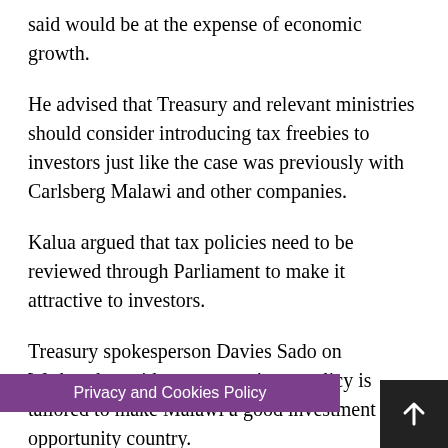said would be at the expense of economic growth.
He advised that Treasury and relevant ministries should consider introducing tax freebies to investors just like the case was previously with Carlsberg Malawi and other companies.
Kalua argued that tax policies need to be reviewed through Parliament to make it attractive to investors.
Treasury spokesperson Davies Sado on Wednesday said government’s tax policy is tailored to make Malawi a good investment opportunity country.
He said: “We have put in place several tax policy measures aimed at coaxing and making it habitable for the business sector.  For example, just to mention a few, we have incentives like priority industries incentive...stme...